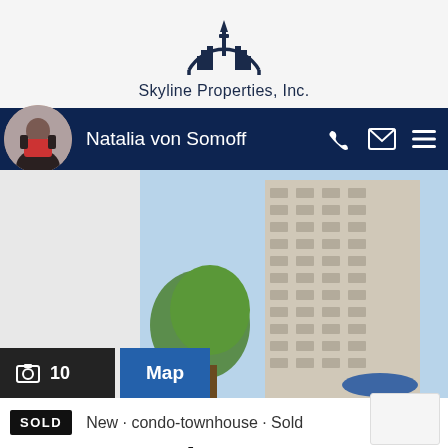[Figure (logo): Skyline Properties Inc. logo — circular arch with city skyline silhouette]
Skyline Properties, Inc.
Natalia von Somoff
[Figure (photo): Tall high-rise condominium building photographed from below against a blue sky, with a green tree visible at lower left and a blue canopy at the base.]
📷 10
Map
SOLD
New · condo-townhouse · Sold
101 1540 8th Ave NE